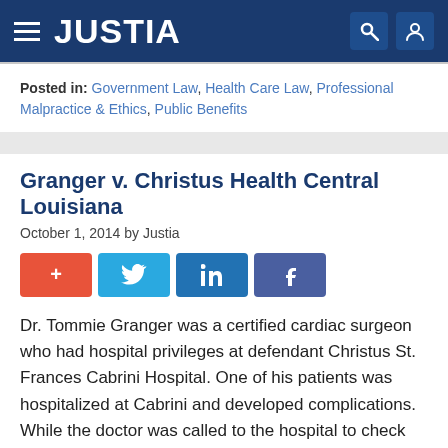JUSTIA
Posted in: Government Law, Health Care Law, Professional Malpractice & Ethics, Public Benefits
Granger v. Christus Health Central Louisiana
October 1, 2014 by Justia
[Figure (infographic): Social sharing buttons: plus (+), Twitter, LinkedIn, Facebook]
Dr. Tommie Granger was a certified cardiac surgeon who had hospital privileges at defendant Christus St. Frances Cabrini Hospital. One of his patients was hospitalized at Cabrini and developed complications. While the doctor was called to the hospital to check on the patient, he and Cabrini staff got into a heated exchange of words within earshot of the patient. The